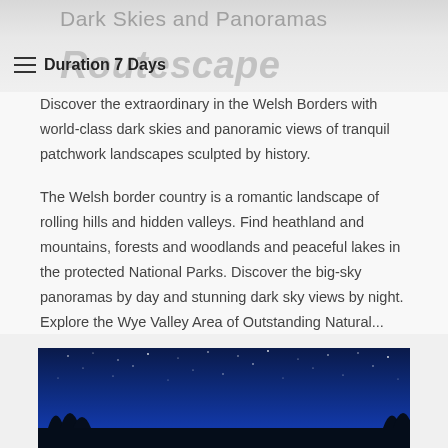Dark Skies and Panoramas
Duration 7 Days
Routescape
Discover the extraordinary in the Welsh Borders with world-class dark skies and panoramic views of tranquil patchwork landscapes sculpted by history.
The Welsh border country is a romantic landscape of rolling hills and hidden valleys. Find heathland and mountains, forests and woodlands and peaceful lakes in the protected National Parks. Discover the big-sky panoramas by day and stunning dark sky views by night. Explore the Wye Valley Area of Outstanding Natural...
[Figure (photo): Night sky photograph showing stars and deep blue sky with silhouette of trees at the bottom]